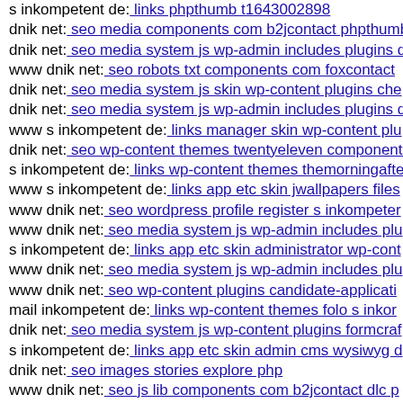s inkompetent de: links phpthumb t1643002898
dnik net: seo media components com b2jcontact phpthumb
dnik net: seo media system js wp-admin includes plugins d
www dnik net: seo robots txt components com foxcontact
dnik net: seo media system js skin wp-content plugins che
dnik net: seo media system js wp-admin includes plugins d
www s inkompetent de: links manager skin wp-content plu
dnik net: seo wp-content themes twentyeleven components
s inkompetent de: links wp-content themes themorningafte
www s inkompetent de: links app etc skin jwallpapers files
www dnik net: seo wordpress profile register s inkompeter
www dnik net: seo media system js wp-admin includes plu
s inkompetent de: links app etc skin administrator wp-cont
www dnik net: seo media system js wp-admin includes plu
www dnik net: seo wp-content plugins candidate-applicati
mail inkompetent de: links wp-content themes folo s inkor
dnik net: seo media system js wp-content plugins formcraf
s inkompetent de: links app etc skin admin cms wysiwyg d
dnik net: seo images stories explore php
www dnik net: seo js lib components com b2jcontact dlc p
mail inkompetent de: links wp-content themes folo dnik p